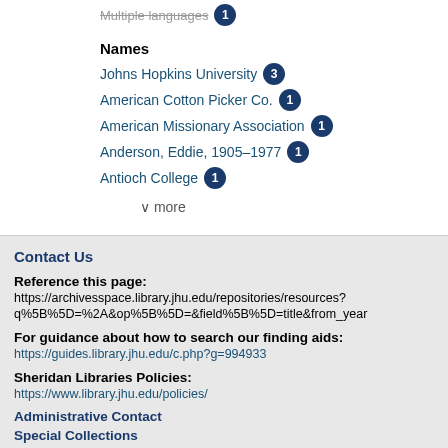Multiple languages 1
Names
Johns Hopkins University 3
American Cotton Picker Co. 1
American Missionary Association 1
Anderson, Eddie, 1905-1977 1
Antioch College 1
v more
Contact Us
Reference this page:
https://archivesspace.library.jhu.edu/repositories/resources?q%5B%5D=%2A&op%5B%5D=&field%5B%5D=title&from_year
For guidance about how to search our finding aids:
https://guides.library.jhu.edu/c.php?g=994933
Sheridan Libraries Policies:
https://www.library.jhu.edu/policies/
Administrative Contact
Special Collections